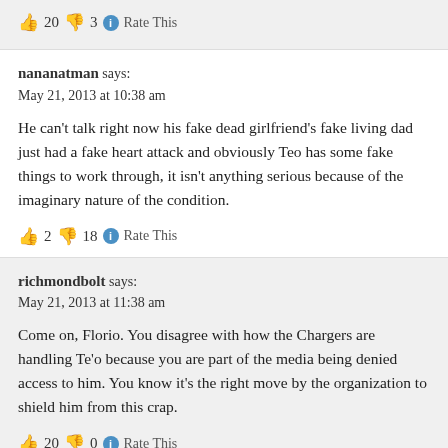👍 20 👎 3 ℹ Rate This
nananatman says:
May 21, 2013 at 10:38 am
He can't talk right now his fake dead girlfriend's fake living dad just had a fake heart attack and obviously Teo has some fake things to work through, it isn't anything serious because of the imaginary nature of the condition.
👍 2 👎 18 ℹ Rate This
richmondbolt says:
May 21, 2013 at 11:38 am
Come on, Florio. You disagree with how the Chargers are handling Te'o because you are part of the media being denied access to him. You know it's the right move by the organization to shield him from this crap.
👍 20 👎 0 ℹ Rate This